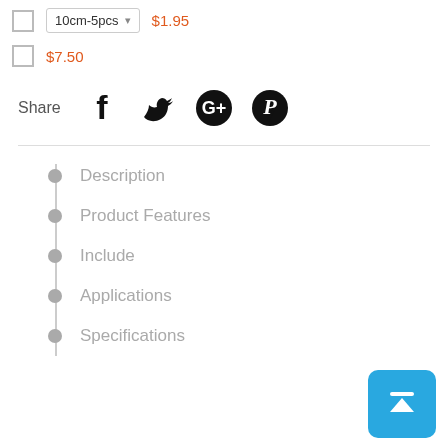10cm-5pcs  $1.95
$7.50
Share
[Figure (infographic): Social media share icons: Facebook, Twitter, Google+, Pinterest]
Description
Product Features
Include
Applications
Specifications